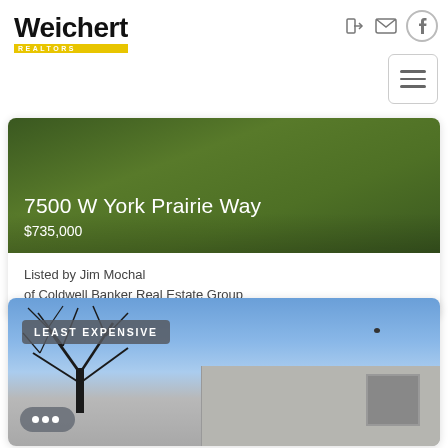[Figure (logo): Weichert Realtors logo with bold black text and yellow underline/bar]
[Figure (screenshot): Navigation icons: login arrow, email envelope, Facebook circle, hamburger menu button]
[Figure (photo): Real estate listing card showing green lawn/grass background with property address and price overlay]
7500 W York Prairie Way
$735,000
Listed by Jim Mochal
of Coldwell Banker Real Estate Group
[Figure (photo): Second listing photo showing house roofline against blue sky with bare tree silhouette. Badge reads LEAST EXPENSIVE. Chat bubble widget visible.]
LEAST EXPENSIVE